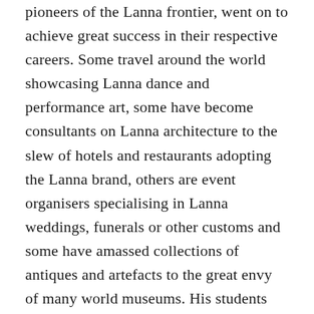pioneers of the Lanna frontier, went on to achieve great success in their respective careers. Some travel around the world showcasing Lanna dance and performance art, some have become consultants on Lanna architecture to the slew of hotels and restaurants adopting the Lanna brand, others are event organisers specialising in Lanna weddings, funerals or other customs and some have amassed collections of antiques and artefacts to the great envy of many world museums. His students were also to become great ambassadors of Chiang Mai. “One of my earliest students has worked for the government taking our performances all over the world to various expos and events,” he said with pride. “Many of those box office hit movies about